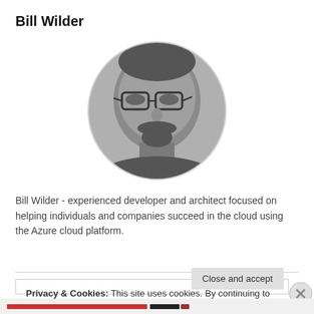Bill Wilder
[Figure (photo): Black and white circular portrait photo of Bill Wilder, a man with glasses and a beard, middle-aged.]
Bill Wilder - experienced developer and architect focused on helping individuals and companies succeed in the cloud using the Azure cloud platform.
Privacy & Cookies: This site uses cookies. By continuing to use this website, you agree to their use.
To find out more, including how to control cookies, see here: Cookie Policy
Close and accept